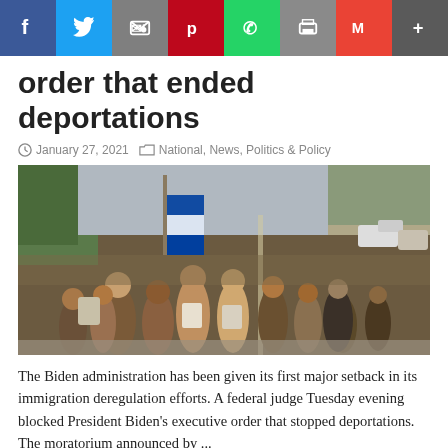Social share bar: Facebook, Twitter, Email, Pinterest, WhatsApp, Print, Gmail, More
Court stops Biden executive order that ended deportations
January 27, 2021   National, News, Politics & Policy
[Figure (photo): Large crowd of migrants walking along a road, holding a Honduran flag, with cars visible on the right side.]
The Biden administration has been given its first major setback in its immigration deregulation efforts. A federal judge Tuesday evening blocked President Biden's executive order that stopped deportations. The moratorium announced by ...